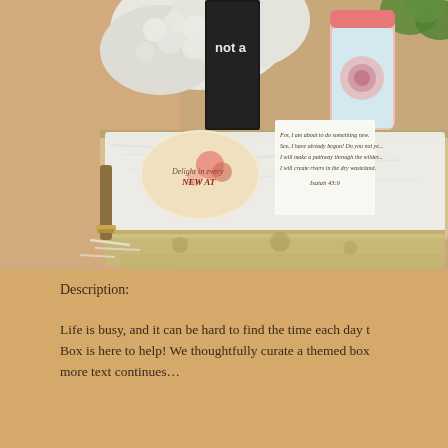[Figure (photo): A decorative gift box/tray filled with white shredded paper, containing items including a floral-patterned dish or plate with script text 'Delight in every NEW AT', a card with a Bible verse from Isaiah 43:19, a pink tumbler/cup with a rose design, a dark book with text 'not a', and pink flowers. White hydrangea flowers visible in the background. The tray is a rustic/vintage style wooden or metal crate.]
Description:
Life is busy, and it can be hard to find the time each day t... Box is here to help! We thoughtfully curate a themed box ...